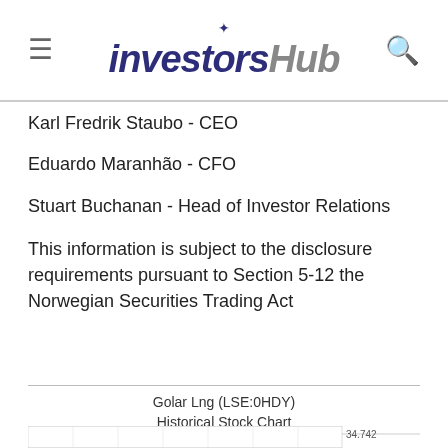investorsHub
Karl Fredrik Staubo - CEO
Eduardo Maranhão - CFO
Stuart Buchanan - Head of Investor Relations
This information is subject to the disclosure requirements pursuant to Section 5-12 the Norwegian Securities Trading Act
Golar Lng (LSE:0HDY)
Historical Stock Chart
From Aug 2022 to Sep 2022
[Figure (continuous-plot): Historical stock chart for Golar Lng (LSE:0HDY) from Aug 2022 to Sep 2022, partially visible at bottom of page, showing value around 34.742]